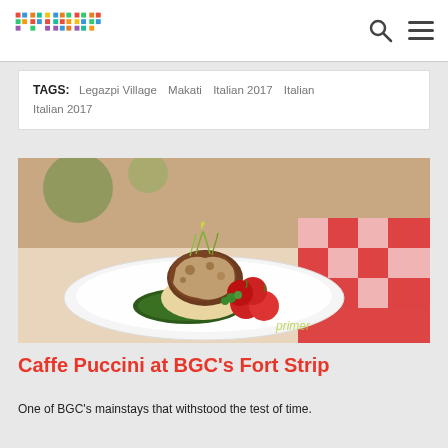primer [logo] [search icon] [menu icon]
TAGS: Legazpi Village   Makati   Italian 2017   Italian   Italian 2017
[Figure (photo): A plated gourmet dish on a white plate featuring a meat cutlet topped with mushroom cream sauce and microgreens, served with roasted cherry tomatoes and dark green leafy vegetables. Red checkered tablecloth visible in background.]
Caffe Puccini at BGC's Fort Strip
One of BGC's mainstays that withstood the test of time.